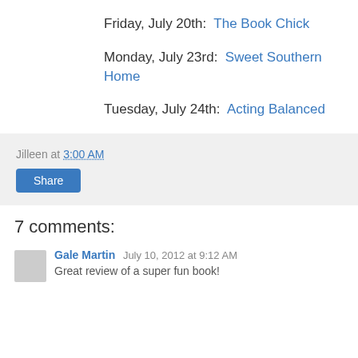Friday, July 20th:  The Book Chick
Monday, July 23rd:  Sweet Southern Home
Tuesday, July 24th:  Acting Balanced
Jilleen at 3:00 AM
Share
7 comments:
Gale Martin  July 10, 2012 at 9:12 AM
Great review of a super fun book!